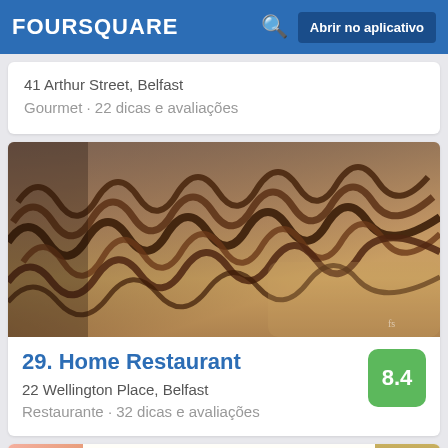FOURSQUARE — Abrir no aplicativo
41 Arthur Street, Belfast
Gourmet · 22 dicas e avaliações
[Figure (photo): Close-up photo of curly crispy food items (likely onion rings or curly fries) with a rustic, vintage-filtered aesthetic]
29. Home Restaurant
22 Wellington Place, Belfast
Restaurante · 32 dicas e avaliações
[Figure (photo): Partial view of a restaurant menu showing items: HAMBURGER 6.65, DOUBLE 8.85, HAND CUT, SHOESTRING 2.85, SWEET POTATO 4.50]